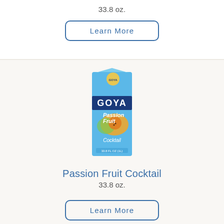33.8 oz.
Learn More
[Figure (photo): Goya Passion Fruit Cocktail carton, blue packaging with fruit imagery]
Passion Fruit Cocktail
33.8 oz.
Learn More